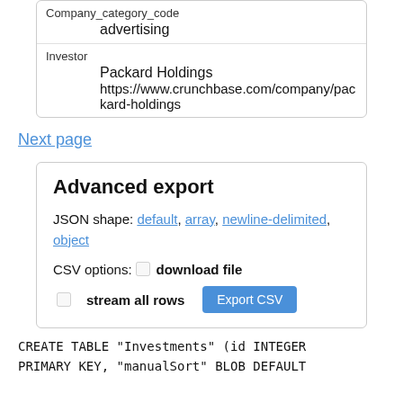| Company_category_code | advertising |
| Investor | Packard Holdings
https://www.crunchbase.com/company/packard-holdings |
Next page
Advanced export
JSON shape: default, array, newline-delimited, object
CSV options: □ download file
□ stream all rows  Export CSV
CREATE TABLE "Investments" (id INTEGER PRIMARY KEY, "manualSort" BLOB DEFAULT